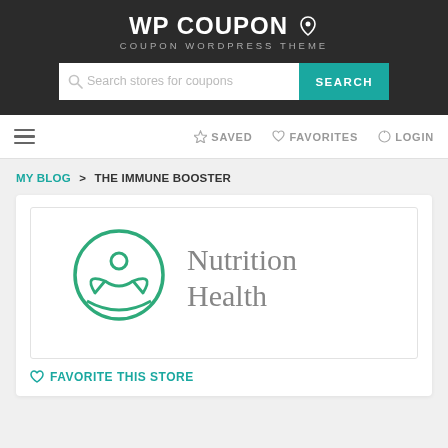WP COUPON — COUPON WORDPRESS THEME
Search stores for coupons
SAVED  FAVORITES  LOGIN
MY BLOG > THE IMMUNE BOOSTER
[Figure (logo): Nutrition Health logo: green circle with stylized person and leaf motif, with text 'Nutrition Health' in grey serif font]
FAVORITE THIS STORE